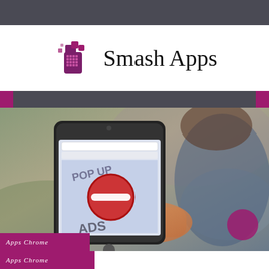[Figure (logo): Smash Apps logo with purple pixel/phone graphic and serif text 'Smash Apps']
[Figure (photo): Person holding smartphone displaying a browser with 'POP UP ADS' blocked by a red no-entry symbol on a light blue screen. Blurred outdoor background.]
Apps Chrome